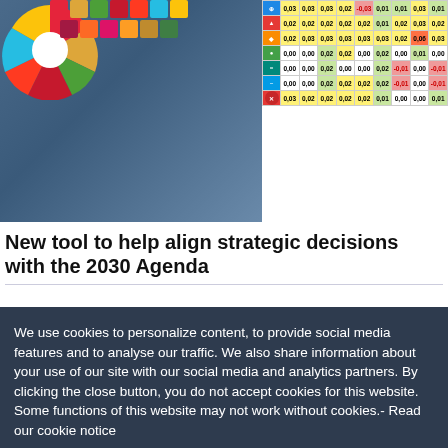[Figure (screenshot): Partial screenshot showing a photo of city buildings with SDG colorful wheel icons overlaid, alongside a data table with colored cells showing values like 0.03, 0.02, 0.00, etc. with SDG goal icons on the left.]
New tool to help align strategic decisions with the 2030 Agenda
We use cookies to personalize content, to provide social media features and to analyse our traffic. We also share information about your use of our site with our social media and analytics partners. By clicking the close button, you do not accept cookies for this website. Some functions of this website may not work without cookies.- Read our cookie notice